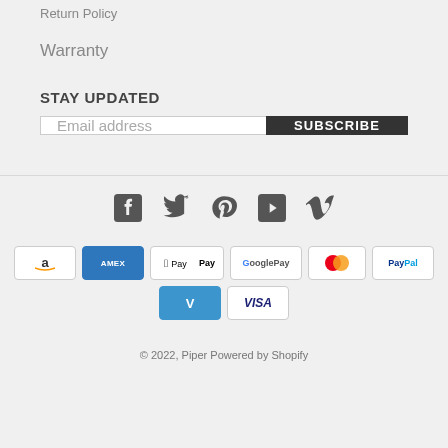Return Policy
Warranty
STAY UPDATED
Email address
SUBSCRIBE
[Figure (infographic): Social media icons: Facebook, Twitter, Pinterest, YouTube, Vimeo]
[Figure (infographic): Payment method icons: Amazon, Amex, Apple Pay, Google Pay, Mastercard, PayPal, Venmo, Visa]
© 2022, Piper Powered by Shopify